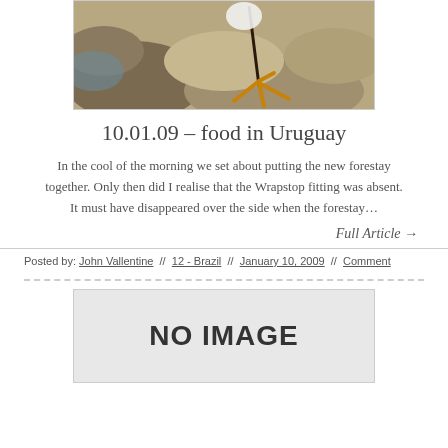[Figure (photo): Photo of a bird's foot/leg on rocky coastal terrain]
10.01.09 – food in Uruguay
In the cool of the morning we set about putting the new forestay together. Only then did I realise that the Wrapstop fitting was absent. It must have disappeared over the side when the forestay…
Full Article →
Posted by: John Vallentine  //  12 - Brazil  //  January 10, 2009  //  Comment
[Figure (other): NO IMAGE placeholder]